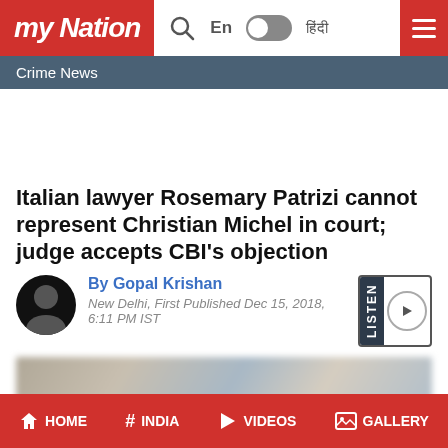my Nation | En | हिंदी
Crime News
Italian lawyer Rosemary Patrizi cannot represent Christian Michel in court; judge accepts CBI's objection
By Gopal Krishan
New Delhi, First Published Dec 15, 2018, 6:11 PM IST
[Figure (photo): Blurred news article header image]
HOME  INDIA  VIDEOS  GALLERY